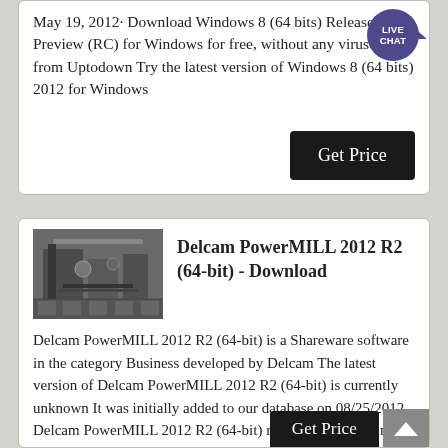May 19, 2012· Download Windows 8 (64 bits) Release Preview (RC) for Windows for free, without any viruses, from Uptodown Try the latest version of Windows 8 (64 bits) 2012 for Windows
[Figure (other): Live Chat bubble icon, dark purple circle with LIVE CHAT text and a speech bubble tail]
Get Price
[Figure (photo): Grayscale photo of industrial CNC machinery equipment in a manufacturing setting]
Delcam PowerMILL 2012 R2 (64-bit) - Download
Delcam PowerMILL 2012 R2 (64-bit) is a Shareware software in the category Business developed by Delcam The latest version of Delcam PowerMILL 2012 R2 (64-bit) is currently unknown It was initially added to our database on 08/25/2012 Delcam PowerMILL 2012 R2 (64-bit) runs on the following operating systems: Windows
Get Price